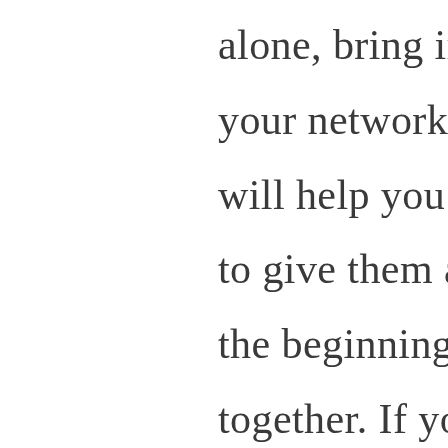alone, bring in friends, talk to your network, and see if people will help you out. You don't have to give them an equity stake in the beginning see how you work together. If you work well, you may want to ask them to come on board with